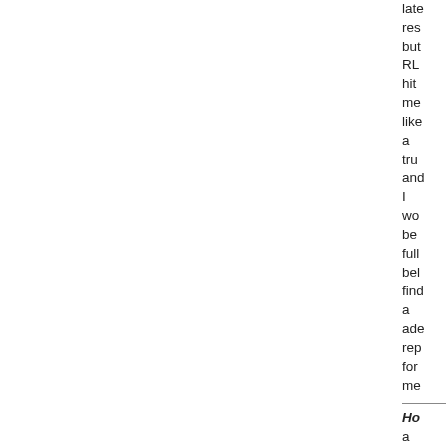late res but RL hit me like a tru and I wo be full bel find a ade rep for me
Ho a utin